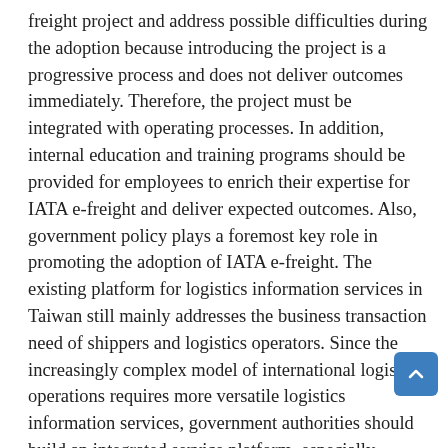freight project and address possible difficulties during the adoption because introducing the project is a progressive process and does not deliver outcomes immediately. Therefore, the project must be integrated with operating processes. In addition, internal education and training programs should be provided for employees to enrich their expertise for IATA e-freight and deliver expected outcomes. Also, government policy plays a foremost key role in promoting the adoption of IATA e-freight. The existing platform for logistics information services in Taiwan still mainly addresses the business transaction need of shippers and logistics operators. Since the increasingly complex model of international logistics operations requires more versatile logistics information services, government authorities should build an integrated service platform, especially through cloud-based integration of logistics information and services, to increase logistics efficiency and international competitiveness. Air freight forwarders should also discuss with their trading partners (airlines, cargo terminal operators, customs brokers and air freight forwarder associations) regularly or frequently on the promotion of IATA e-freight to share related expertise and introduce cloud-based air cargo information systems.